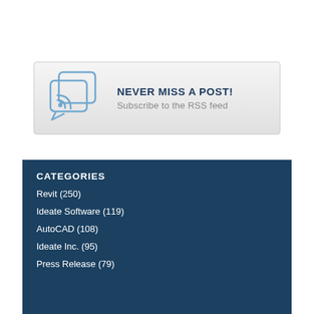[Figure (infographic): RSS subscription banner with speech bubble icons containing RSS symbol, text reading NEVER MISS A POST! Subscribe to the RSS feed]
CATEGORIES
Revit (250)
Ideate Software (119)
AutoCAD (108)
Ideate Inc. (95)
Press Release (79)